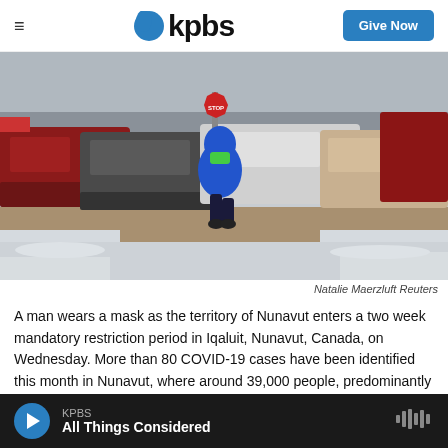kpbs | Give Now
[Figure (photo): A man wearing a blue jacket and green face mask walks along a snowy road in Iqaluit, Nunavut, Canada. Cars and SUVs are visible in the background, along with a stop sign. The ground is covered with snow and slush.]
Natalie Maerzluft Reuters
A man wears a mask as the territory of Nunavut enters a two week mandatory restriction period in Iqaluit, Nunavut, Canada, on Wednesday. More than 80 COVID-19 cases have been identified this month in Nunavut, where around 39,000 people, predominantly Inuit, live in communities scattered across the
KPBS
All Things Considered